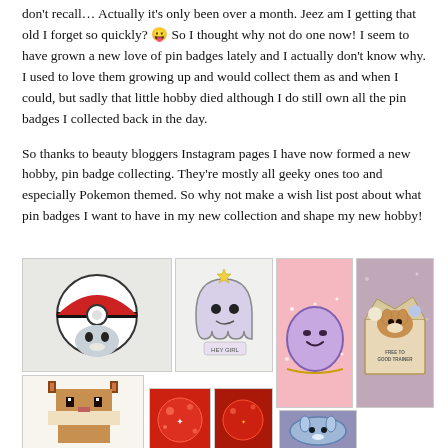don't recall… Actually it's only been over a month. Jeez am I getting that old I forget so quickly? 😛 So I thought why not do one now! I seem to have grown a new love of pin badges lately and I actually don't know why. I used to love them growing up and would collect them as and when I could, but sadly that little hobby died although I do still own all the pin badges I collected back in the day.
So thanks to beauty bloggers Instagram pages I have now formed a new hobby, pin badge collecting. They're mostly all geeky ones too and especially Pokemon themed. So why not make a wish list post about what pin badges I want to have in my new collection and shape my new hobby!
[Figure (photo): A collage of pin badge photos: a Pikachu/Pokeball enamel pin, a ghost girl 'Hey Girl' pin, a sparkly Ditto pin on pink background, an Eevee and other Pokemon in a box pin on glittery background, a pixel art Eevee pin, red glittery pins, and a blue/white Pokemon pin.]